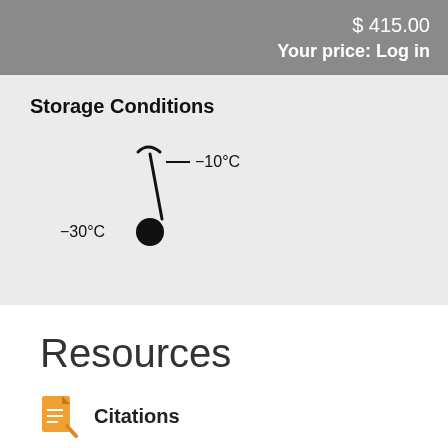$ 415.00
Your price: Log in
Storage Conditions
[Figure (illustration): Thermometer icon showing temperature range from -30°C to -10°C, with labels -10°C at top and -30°C at bottom left]
Resources
Citations